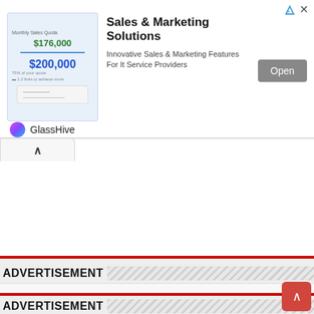[Figure (screenshot): Advertisement banner for GlassHive Sales & Marketing Solutions showing a dashboard preview image on the left, title text and description in the center, an Open button on the right, and the GlassHive brand logo and name at the bottom left.]
Sales & Marketing Solutions
Innovative Sales & Marketing Features For It Service Providers
Open
GlassHive
ADVERTISEMENT
ADVERTISEMENT